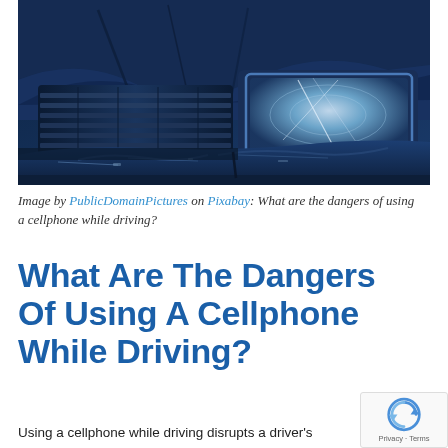[Figure (photo): Close-up photo of a badly damaged car front end — crushed hood, cracked headlight, and a dented blue bumper. Dark blue tones throughout.]
Image by PublicDomainPictures on Pixabay: What are the dangers of using a cellphone while driving?
What Are The Dangers Of Using A Cellphone While Driving?
Using a cellphone while driving disrupts a driver's